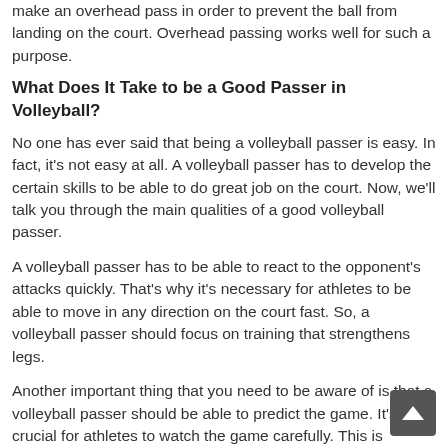make an overhead pass in order to prevent the ball from landing on the court. Overhead passing works well for such a purpose.
What Does It Take to be a Good Passer in Volleyball?
No one has ever said that being a volleyball passer is easy. In fact, it's not easy at all. A volleyball passer has to develop the certain skills to be able to do great job on the court. Now, we'll talk you through the main qualities of a good volleyball passer.
A volleyball passer has to be able to react to the opponent's attacks quickly. That's why it's necessary for athletes to be able to move in any direction on the court fast. So, a volleyball passer should focus on training that strengthens legs.
Another important thing that you need to be aware of is that a volleyball passer should be able to predict the game. It's crucial for athletes to watch the game carefully. This is something that helps volleyball players make predictions and perform well on the court.